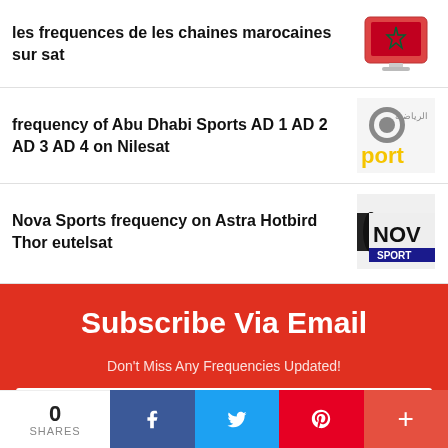les frequences de les chaines marocaines sur sat
frequency of Abu Dhabi Sports AD 1 AD 2 AD 3 AD 4 on Nilesat
Nova Sports frequency on Astra Hotbird Thor eutelsat
Subscribe Via Email
Don't Miss Any Frequencies Updated!
Enter email address
0 SHARES